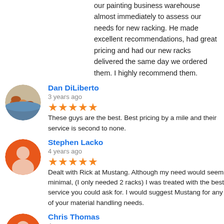our painting business warehouse almost immediately to assess our needs for new racking.  He made excellent recommendations, had great pricing and had our new racks delivered the same day we ordered them.  I highly recommend them.
Dan DiLiberto
3 years ago
★★★★★ These guys are the best. Best pricing by a mile and their service is second to none.
Stephen Lacko
4 years ago
★★★★★ Dealt with Rick at Mustang.  Although my need would seem minimal,  (I only needed 2 racks)  I was treated with the best service you could ask for.  I would suggest Mustang for any of your material handling needs.
Chris Thomas
4 years ago
★★★★★ Jeff was great to work with.  Quick to respond, good price and quality used pallet racks for sure!  I figured I would have to clean and paint but these are like